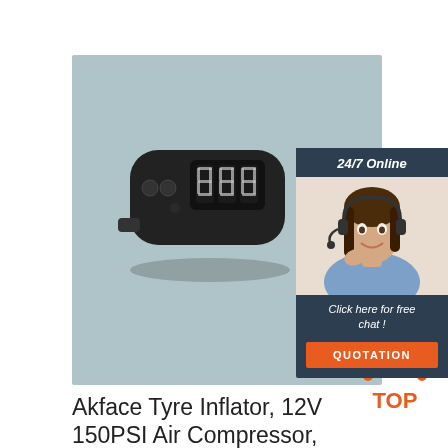[Figure (photo): Product photo of a black handheld tyre inflator/air compressor with digital display, shown on a muted teal-grey background. A chat widget overlays the right side showing a female customer service representative wearing a headset, with text '24/7 Online', 'Click here for free chat!', and an orange 'QUOTATION' button.]
[Figure (logo): Orange 'TOP' badge logo with decorative dots arranged in a triangle above the word TOP in bold orange text.]
Akface Tyre Inflator, 12V 150PSI Air Compressor, 35L/min